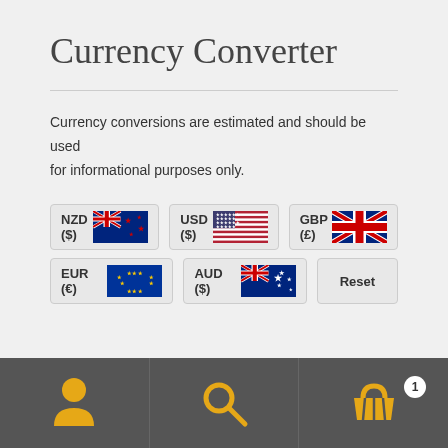Currency Converter
Currency conversions are estimated and should be used for informational purposes only.
[Figure (screenshot): Currency selector buttons: NZD ($) with NZ flag, USD ($) with US flag, GBP (£) with UK flag, EUR (€) with EU flag, AUD ($) with AU flag, and a Reset button]
[Figure (infographic): Bottom navigation bar with person icon, search icon, and shopping basket icon with badge showing '1']